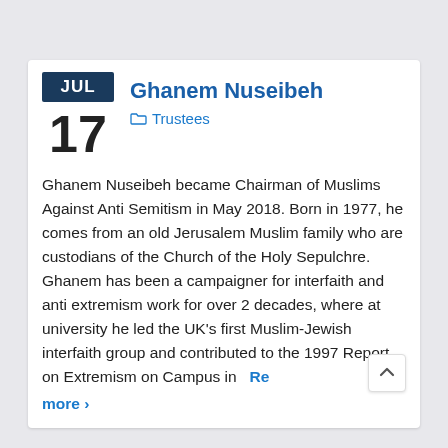Ghanem Nuseibeh
Trustees
Ghanem Nuseibeh became Chairman of Muslims Against Anti Semitism in May 2018. Born in 1977, he comes from an old Jerusalem Muslim family who are custodians of the Church of the Holy Sepulchre. Ghanem has been a campaigner for interfaith and anti extremism work for over 2 decades, where at university he led the UK's first Muslim-Jewish interfaith group and contributed to the 1997 Report on Extremism on Campus in
Read more ›